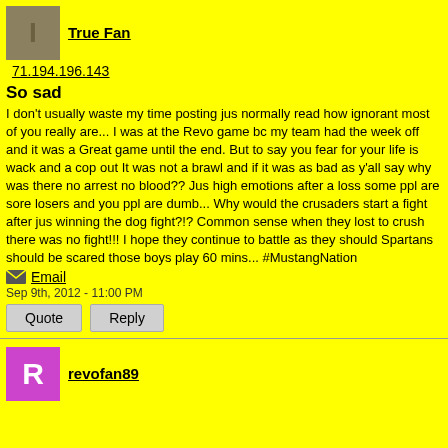[Figure (other): Tan/olive square avatar with dark letter I]
True Fan
71.194.196.143
So sad
I don't usually waste my time posting jus normally read how ignorant most of you really are... I was at the Revo game bc my team had the week off and it was a Great game until the end. But to say you fear for your life is wack and a cop out It was not a brawl and if it was as bad as y'all say why was there no arrest no blood?? Jus high emotions after a loss some ppl are sore losers and you ppl are dumb... Why would the crusaders start a fight after jus winning the dog fight?!? Common sense when they lost to crush there was no fight!!! I hope they continue to battle as they should Spartans should be scared those boys play 60 mins... #MustangNation
Email
Sep 9th, 2012 - 11:00 PM
Quote
Reply
[Figure (other): Pink/magenta square avatar with white letter R]
revofan89